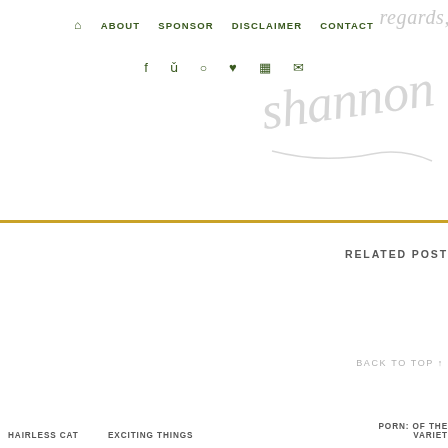regards shannon — navigation: home, about, sponsor, disclaimer, contact; social icons: facebook, twitter, pinterest, heart, instagram, email
RELATED POST
BACK TO TOP
HAIRLESS CAT   EXCITING THINGS   PORN: OF THE VARIET...